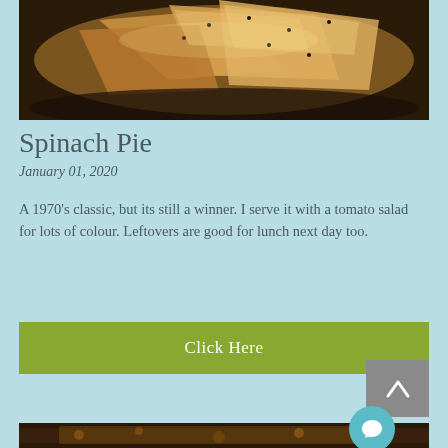[Figure (photo): Photo of spinach pie (filo pastry triangles) in a bowl, viewed from above, with sesame seeds on top]
Spinach Pie
January 01, 2020
A 1970's classic, but its still a winner. I serve it with a tomato salad for lots of colour. Leftovers are good for lunch next day too.
[Figure (other): Green 'Click Here' button]
[Figure (other): Back to top arrow button in grey]
[Figure (photo): Partial photo of a pizza or baked dish at the bottom of the page]